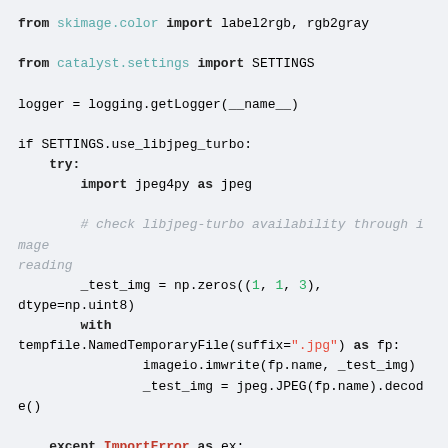from skimage.color import label2rgb, rgb2gray

from catalyst.settings import SETTINGS

logger = logging.getLogger(__name__)

if SETTINGS.use_libjpeg_turbo:
    try:
        import jpeg4py as jpeg

        # check libjpeg-turbo availability through image reading
        _test_img = np.zeros((1, 1, 3),
dtype=np.uint8)
        with
tempfile.NamedTemporaryFile(suffix=".jpg") as fp:
                imageio.imwrite(fp.name, _test_img)
                _test_img = jpeg.JPEG(fp.name).decode()

    except ImportError as ex:
        logger.warning(
            "jpeg4py not available. "
            "To install jpeg4py, run `pip install jpeg4py`."
        )
        raise ex